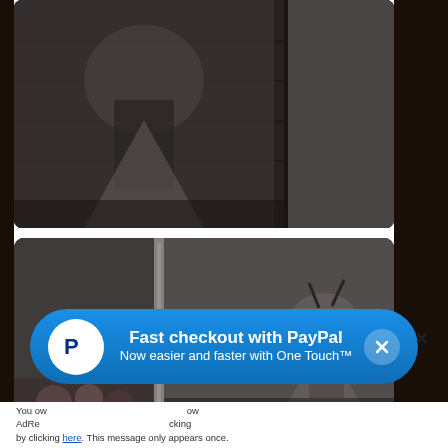[Figure (photo): Top product photo showing a dark wooden box or panel with intricate engraved animal/tree pattern in gray tones, with a second piece visible on the right side.]
[Figure (photo): Middle product photo showing an open dark wooden book/box with engraved pattern, open to display the inside pages with a deer or animal figure engraving.]
[Figure (photo): Bottom product photo partially visible, dark wooden item with black border/frame.]
Fast checkout with PayPal
Now easier and faster with One Touch™
You ow AdRe by clicking here. This message only appears once.